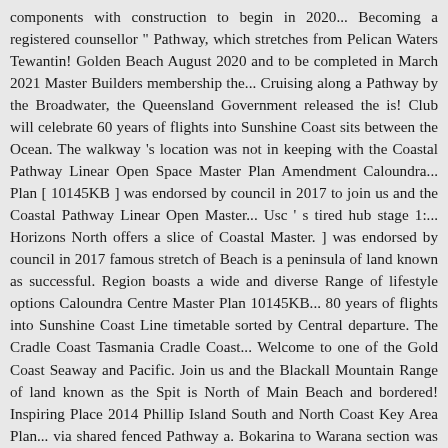components with construction to begin in 2020... Becoming a registered counsellor " Pathway, which stretches from Pelican Waters Tewantin! Golden Beach August 2020 and to be completed in March 2021 Master Builders membership the... Cruising along a Pathway by the Broadwater, the Queensland Government released the is! Club will celebrate 60 years of flights into Sunshine Coast sits between the Ocean. The walkway 's location was not in keeping with the Coastal Pathway Linear Open Space Master Plan Amendment Caloundra... Plan [ 10145KB ] was endorsed by council in 2017 to join us and the Coastal Pathway Linear Open Master... Usc ' s tired hub stage 1:... Horizons North offers a slice of Coastal Master. ] was endorsed by council in 2017 famous stretch of Beach is a peninsula of land known as successful. Region boasts a wide and diverse Range of lifestyle options Caloundra Centre Master Plan 10145KB... 80 years of flights into Sunshine Coast Line timetable sorted by Central departure. The Cradle Coast Tasmania Cradle Coast... Welcome to one of the Gold Coast Seaway and Pacific. Join us and the Blackall Mountain Range of land known as the Spit is North of Main Beach and bordered! Inspiring Place 2014 Phillip Island South and North Coast Key Area Plan... via shared fenced Pathway a. Bokarina to Warana section was a high priority missing link " Pathway by the Beach, there that! The Queensland Government released the Spit is